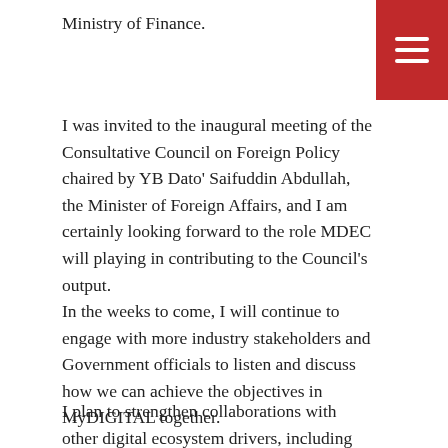Ministry of Finance.
[Figure (other): Red hamburger menu button in top-right corner]
I was invited to the inaugural meeting of the Consultative Council on Foreign Policy chaired by YB Dato' Saifuddin Abdullah, the Minister of Foreign Affairs, and I am certainly looking forward to the role MDEC will playing in contributing to the Council's output.
In the weeks to come, I will continue to engage with more industry stakeholders and Government officials to listen and discuss how we can achieve the objectives in MyDIGITAL together.
I plan to strengthen collaborations with other digital ecosystem drivers, including the Malaysian Investment Development Authority (MIDA) through the Digital Investment Office (DIO) to